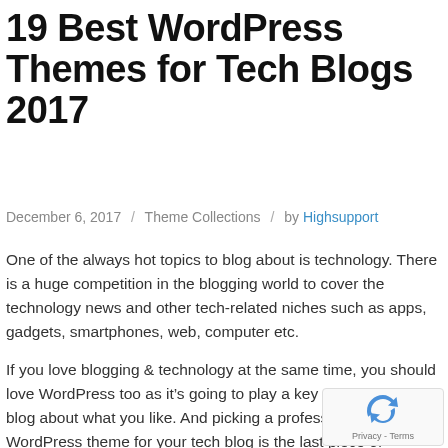19 Best WordPress Themes for Tech Blogs 2017
December 6, 2017  /  Theme Collections  /  by Highsupport
One of the always hot topics to blog about is technology. There is a huge competition in the blogging world to cover the technology news and other tech-related niches such as apps, gadgets, smartphones, web, computer etc.
If you love blogging & technology at the same time, you should love WordPress too as it’s going to play a key role to help you blog about what you like. And picking a professionally d WordPress theme for your tech blog is the last piece of success.